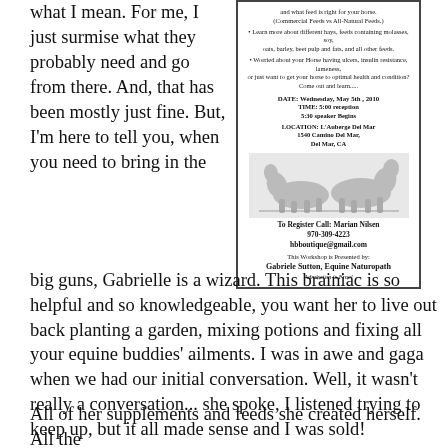what I mean.  For me, I just surmise what they probably need and go from there.  And, that has been mostly just fine.  But, I'm here to tell you, when you need to bring in the
[Figure (other): Flyer for an equine nutrition workshop presented by Gabriele Sutton, Equine Naturopath. Details include date Wednesday May 5th 2010, time 5:00 reception 5:30 speaker begins, location L'Auberge Del Mar 1540 Camino Del Mar Del Mar CA, contact Marian Nilsen 970-309-4223 hbboutique@gmail.com, Admission is Free!]
big guns, Gabrielle is a wizard.  This brainiac is so helpful and so knowledgeable, you want her to live out back planting a garden, mixing potions and fixing all your equine buddies' ailments.  I was in awe and gaga when we had our initial conversation.  Well, it wasn't really a conversation... she spoke, I listened trying to keep up, but it all made sense and I was sold!
All of her supplements and feeds she created herself.  All the ingredients are listed and she wants to tell you on the label and